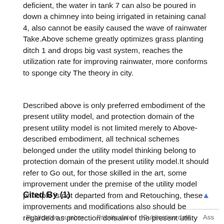deficient, the water in tank 7 can also be poured in down a chimney into being irrigated in retaining canal 4, also cannot be easily caused the wave of rainwater Take.Above scheme greatly optimizes grass planting ditch 1 and drops big vast system, reaches the utilization rate for improving rainwater, more conforms to sponge city The theory in city.
Described above is only preferred embodiment of the present utility model, and protection domain of the present utility model is not limited merely to Above-described embodiment, all technical schemes belonged under the utility model thinking belong to protection domain of the present utility model.It should refer to Go out, for those skilled in the art, some improvement under the premise of the utility model principle is not departed from and Retouching, these improvements and modifications also should be regarded as protection domain of the present utility model.
Cited By (1)
| Publication number | Priority date | Publication date | Ass |
| --- | --- | --- | --- |